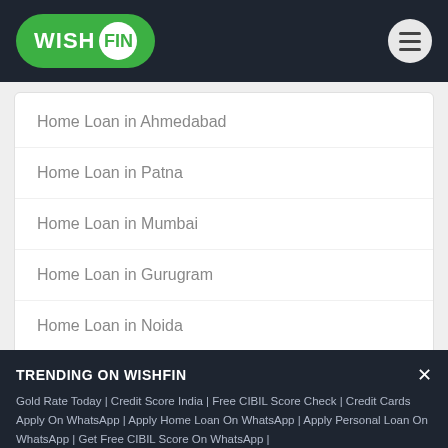WISHFIN
Home Loan in Ahmedabad
Home Loan in Patna
Home Loan in Mumbai
Home Loan in Gurugram
Home Loan in Noida
Home Loan in Ghaziabad
TRENDING ON WISHFIN
Gold Rate Today | Credit Score India | Free CIBIL Score Check | Credit Cards Apply On WhatsApp | Apply Home Loan On WhatsApp | Apply Personal Loan On WhatsApp | Get Free CIBIL Score On WhatsApp |